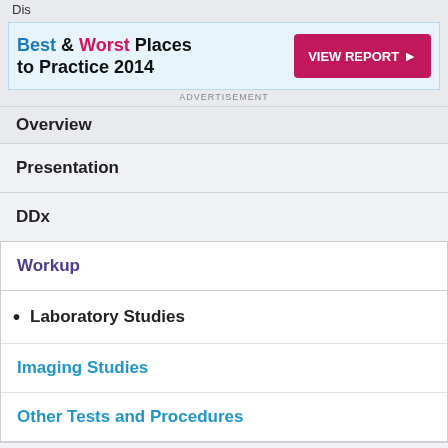Dis...
[Figure (screenshot): Advertisement banner: Best & Worst Places to Practice 2014 with VIEW REPORT button]
Overview
Presentation
DDx
Workup
Laboratory Studies
Imaging Studies
Other Tests and Procedures
Treatment
Medication
References